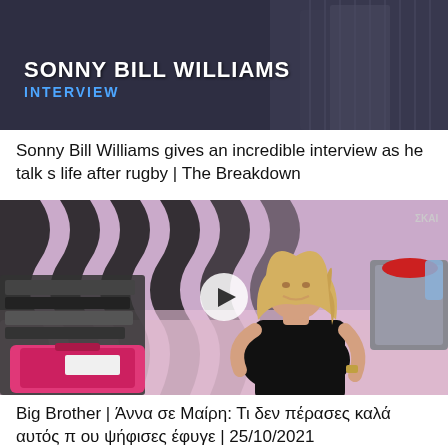[Figure (screenshot): Video thumbnail showing 'SONNY BILL WILLIAMS INTERVIEW' text overlay on dark background with suited figures]
Sonny Bill Williams gives an incredible interview as he talks life after rugby | The Breakdown
[Figure (screenshot): Video thumbnail showing a blonde woman in black dress sitting on a bed with bags and items, pink and black striped background, play button overlay, ΣΚΑΙ logo]
Big Brother | Άννα σε Μαίρη: Τι δεν πέρασες καλά αυτός που ψήφισες έφυγε | 25/10/2021